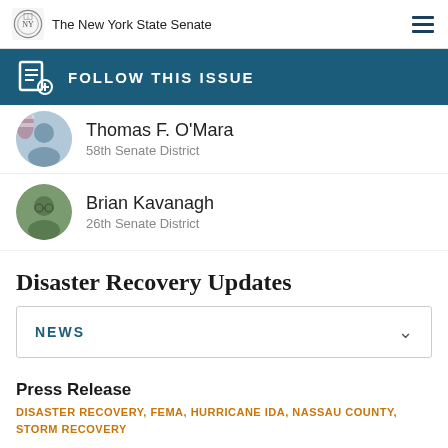The New York State Senate
FOLLOW THIS ISSUE
Thomas F. O'Mara
58th Senate District
Brian Kavanagh
26th Senate District
Disaster Recovery Updates
NEWS
Press Release
DISASTER RECOVERY, FEMA, HURRICANE IDA, NASSAU COUNTY, STORM RECOVERY
Curran Announces FEMA Major Disaster